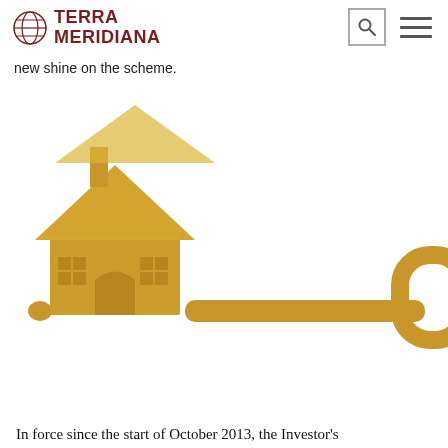TERRA MERIDIANA
new shine on the scheme.
[Figure (illustration): A golden 3D key with a house-shaped bow, featuring a chimney, arched doorway, and window details on a white background. The key shank extends to the right with a rounded rectangular key head.]
In force since the start of October 2013, the Investor's